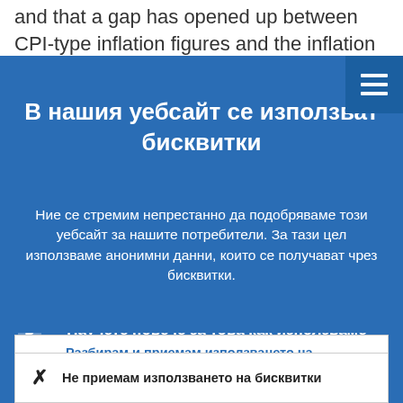and that a gap has opened up between CPI-type inflation figures and the inflation rate of the items actually purchased by final
В нашия уебсайт се използват бисквитки
Ние се стремим непрестанно да подобряваме този уебсайт за нашите потребители. За тази цел използваме анонимни данни, които се получават чрез бисквитки.
► Научете повече за това как използваме бисквитки
✓ Разбирам и приемам използването на бисквитки
✗ Не приемам използването на бисквитки